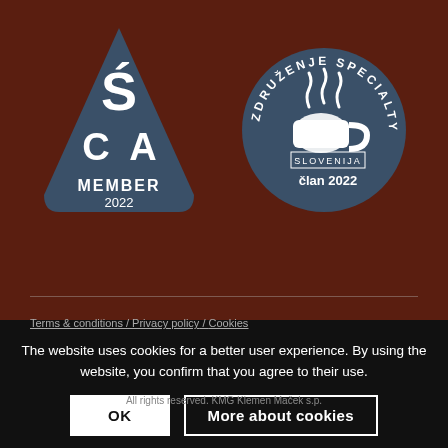[Figure (logo): SCA Member 2022 badge - dark blue triangular shape with SCA logo and text MEMBER 2022]
[Figure (logo): Zdruzenje Specialty Kave Slovenija circular badge with coffee cup steam logo and text clan 2022 / SLOVENIJA]
Terms & conditions / Privacy policy / Cookies
The website uses cookies for a better user experience. By using the website, you confirm that you agree to their use.
All rights reserved. KMG Klemen Maček s.p.